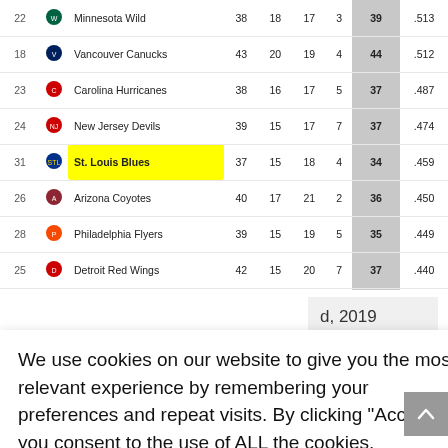| # |  | Team | GP | W | L | OTL | PTS | PCT |
| --- | --- | --- | --- | --- | --- | --- | --- | --- |
| 22 |  | Minnesota Wild | 38 | 18 | 17 | 3 | 39 | .513 |
| 18 |  | Vancouver Canucks | 43 | 20 | 19 | 4 | 44 | .512 |
| 23 |  | Carolina Hurricanes | 38 | 16 | 17 | 5 | 37 | .487 |
| 24 |  | New Jersey Devils | 39 | 15 | 17 | 7 | 37 | .474 |
| 31 |  | St. Louis Blues | 37 | 15 | 18 | 4 | 34 | .459 |
| 26 |  | Arizona Coyotes | 40 | 17 | 21 | 2 | 36 | .450 |
| 28 |  | Philadelphia Flyers | 39 | 15 | 19 | 5 | 35 | .449 |
| 25 |  | Detroit Red Wings | 42 | 15 | 20 | 7 | 37 | .440 |
| 27 |  | Chicago Blackhawks | 42 | 15 | 21 | 6 | 36 | .429 |
| 29 |  | Los Angeles Kings | 41 | 16 | 22 | 3 | 35 | .427 |
| 30 |  | Ottawa Senators | 41 | 15 | 21 | 5 | 35 | .427 |
d, 2019
We use cookies on our website to give you the most relevant experience by remembering your preferences and repeat visits. By clicking “Accept”, you consent to the use of ALL the cookies.
Cookie settings
ACCEPT
| PTS | PCT |
| --- | --- |
| 52 | .667 |
| 54 | .659 |
| 50 | .610 |
| 51 | .607 |
| 52 | .605 |
| 46 | .561 |
Colorado Avalanche